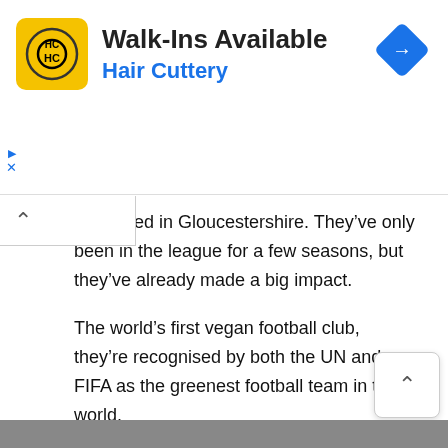[Figure (other): Advertisement banner for Hair Cuttery showing HC logo on yellow background, 'Walk-Ins Available' heading, 'Hair Cuttery' in blue, and a blue diamond navigation icon on the right]
are based in Gloucestershire. They've only been in the league for a few seasons, but they've already made a big impact.
The world's first vegan football club, they're recognised by both the UN and FIFA as the greenest football team in the world.
Owner Dale Vince – he also owns environmentally friendly energy company Ecotricity – has introduced solar panels at the stadium, a fully organic pitch, and a vegan ethos that bans red meat products from the club.
Even their green-coloured strip is green, made from recycled plastics and coffee grounds. Hard to beat when it comes to green credentials, and a credit to English football.
[Figure (photo): Partial photo strip at the bottom of the page showing people]